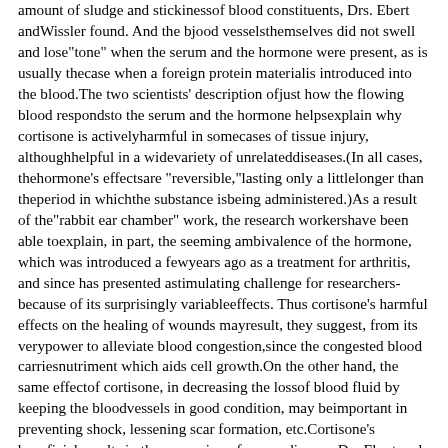amount of sludge and stickiness of blood constituents, Drs. Ebert and Wissler found. And the blood vessels themselves did not swell and lose "tone" when the serum and the hormone were present, as is usually the case when a foreign protein material is introduced into the blood. The two scientists' description of just how the flowing blood responds to the serum and the hormone helps explain why cortisone is actively harmful in some cases of tissue injury, although helpful in a wide variety of unrelated diseases. (In all cases, the hormone's effects are "reversible," lasting only a little longer than the period in which the substance is being administered.) As a result of the "rabbit ear chamber" work, the research workers have been able to explain, in part, the seeming ambivalence of the hormone, which was introduced a few years ago as a treatment for arthritis, and since has presented a stimulating challenge for researchers because of its surprisingly variable effects. Thus cortisone's harmful effects on the healing of wounds may result, they suggest, from its very power to alleviate blood congestion, since the congested blood carries nutriment which aids cell growth. On the other hand, the same effect of cortisone, in decreasing the loss of blood fluid by keeping the blood vessels in good condition, may be important in preventing shock, lessening scar formation, etc. Cortisone's beneficial results in the suppresion of serum disease, Drs. Ebert and Wissler believe, result from its underlying effect in maintaining the health of the small blood vessels, rather than any specific involvement with antibodies or